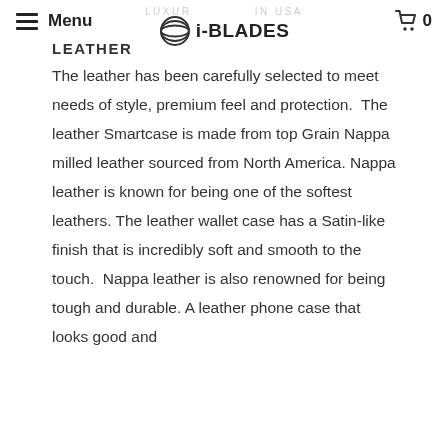Menu | i-BLADES | 0
LEATHER
The leather has been carefully selected to meet needs of style, premium feel and protection.  The leather Smartcase is made from top Grain Nappa milled leather sourced from North America. Nappa leather is known for being one of the softest leathers. The leather wallet case has a Satin-like finish that is incredibly soft and smooth to the touch.  Nappa leather is also renowned for being tough and durable. A leather phone case that looks good and